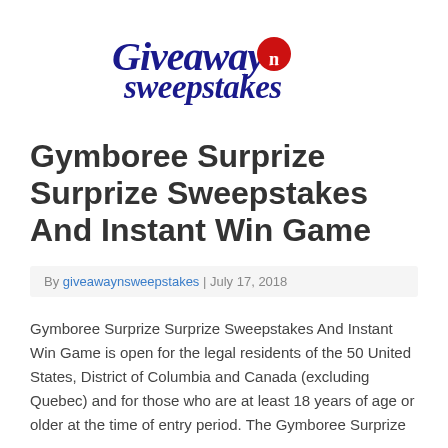[Figure (logo): GiveawayNSweepstakes logo with stylized text in dark blue and red circle with 'n' letter]
Gymboree Surprize Surprize Sweepstakes And Instant Win Game
By giveawaynsweepstakes | July 17, 2018
Gymboree Surprize Surprize Sweepstakes And Instant Win Game is open for the legal residents of the 50 United States, District of Columbia and Canada (excluding Quebec) and for those who are at least 18 years of age or older at the time of entry period. The Gymboree Surprize